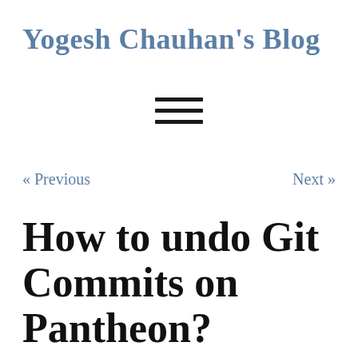Yogesh Chauhan's Blog
[Figure (other): Hamburger menu icon (three horizontal lines)]
« Previous
Next »
How to undo Git Commits on Pantheon?